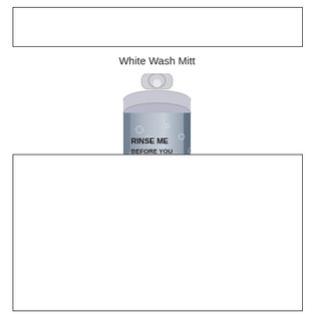White Wash Mitt
[Figure (photo): Product photo of Main Shine Zorb-It Premium Synthetic Drying Cloth in cylindrical packaging with hanger tab. Label reads: RINSE ME BEFORE YOU USE ME!, Main Shine Zorb-It, Premium Synthetic Drying Cloth, Exclusive Double Embossing -Won't Grab, 17" x 27"]